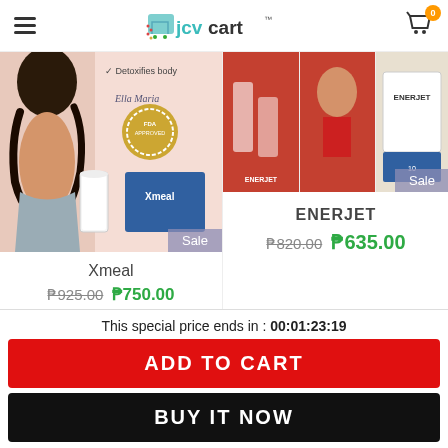[Figure (screenshot): jcvcart e-commerce website header with hamburger menu, logo, and cart icon with badge '0']
[Figure (photo): Xmeal product photo showing woman, milk glass, cereal box with FDA Approved seal, 'Detoxifies body' text, Sale badge]
Xmeal
₱925.00 ₱750.00
[Figure (photo): ENERJET product photos collage showing drinks and product box, Sale badge]
ENERJET
₱820.00 ₱635.00
This special price ends in : 00:01:23:19
ADD TO CART
BUY IT NOW